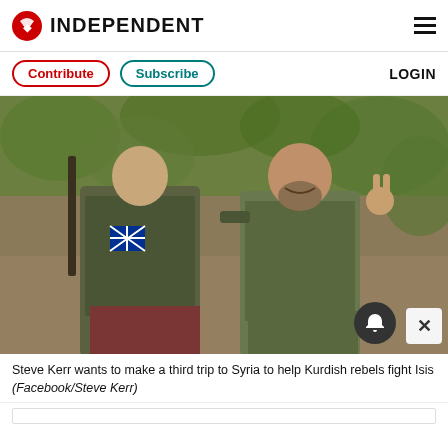INDEPENDENT
Contribute  Subscribe  LOGIN
[Figure (photo): Two men standing outdoors in a forested area. The man on the left wears military-style tactical gear with a British flag patch and holds a rifle. The man on the right wears a green t-shirt with a lion graphic and makes a peace sign with his right hand. Both are smiling.]
Steve Kerr wants to make a third trip to Syria to help Kurdish rebels fight Isis (Facebook/Steve Kerr)